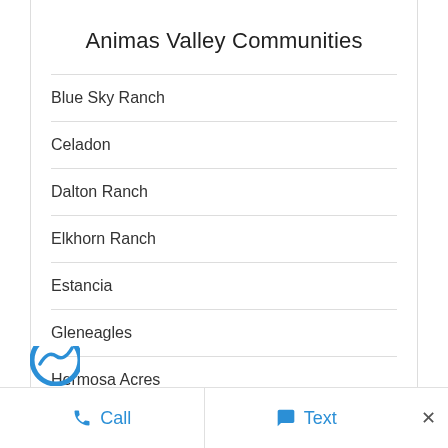Animas Valley Communities
Blue Sky Ranch
Celadon
Dalton Ranch
Elkhorn Ranch
Estancia
Gleneagles
Hermosa Acres
Hermosa Cliffs
Call   Text   ×